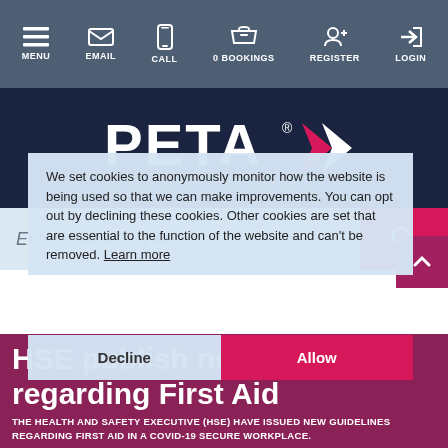MENU  EMAIL  CALL  0 BOOKINGS  REGISTER  LOGIN
[Figure (logo): PETA logo with pink arrow and tagline ASPIRE TO LEARN · APPLY TO ADVANCE on dark navy background]
[Figure (screenshot): Search bar with placeholder text 'Enter course keywords...' and pink search button]
We set cookies to anonymously monitor how the website is being used so that we can make improvements. You can opt out by declining these cookies. Other cookies are set that are essential to the function of the website and can't be removed. Learn more
HSE publish new guidance regarding First Aid
THE HEALTH AND SAFETY EXECUTIVE (HSE) HAVE ISSUED NEW GUIDELINES REGARDING FIRST AID IN A COVID-19 SECURE WORKPLACE.